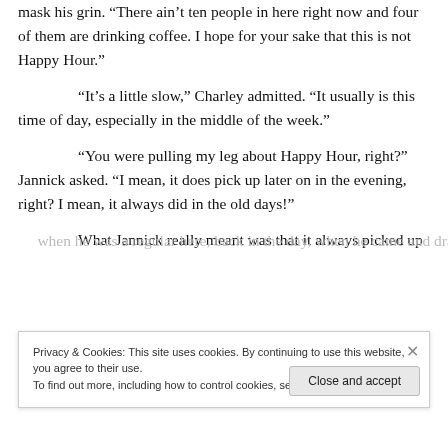mask his grin. “There ain’t ten people in here right now and four of them are drinking coffee. I hope for your sake that this is not Happy Hour.”
“It’s a little slow,” Charley admitted. “It usually is this time of day, especially in the middle of the week.”
“You were pulling my leg about Happy Hour, right?” Jannick asked. “I mean, it does pick up later on in the evening, right? I mean, it always did in the old days!”
What Jannick really meant was that it always picked up
Privacy & Cookies: This site uses cookies. By continuing to use this website, you agree to their use.
To find out more, including how to control cookies, see here: Cookie Policy
Close and accept